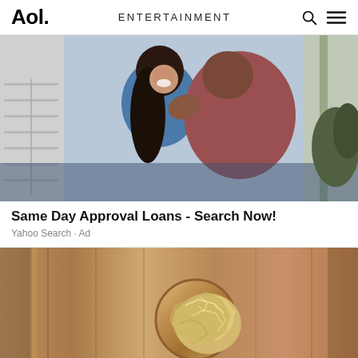Aol. ENTERTAINMENT
[Figure (photo): A couple embracing and kissing outside a home garage, the woman smiling broadly, wearing a blue denim shirt, and the man in a pink/mauve shirt kissing her cheek]
Same Day Approval Loans - Search Now!
Yahoo Search · Ad
[Figure (photo): Close-up of a door knob on a wooden door with aluminum foil crumpled around the knob mechanism]